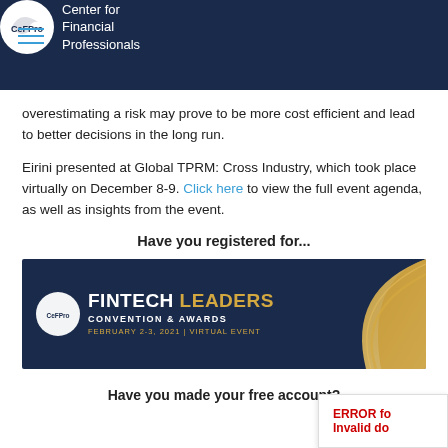Center for Financial Professionals
overestimating a risk may prove to be more cost efficient and lead to better decisions in the long run.
Eirini presented at Global TPRM: Cross Industry, which took place virtually on December 8-9. Click here to view the full event agenda, as well as insights from the event.
Have you registered for...
[Figure (infographic): Fintech Leaders Convention & Awards banner. Dark navy background with gold arc design. Logo and text: FINTECH LEADERS CONVENTION & AWARDS, FEBRUARY 2-3, 2021 | VIRTUAL EVENT]
Have you made your free account?